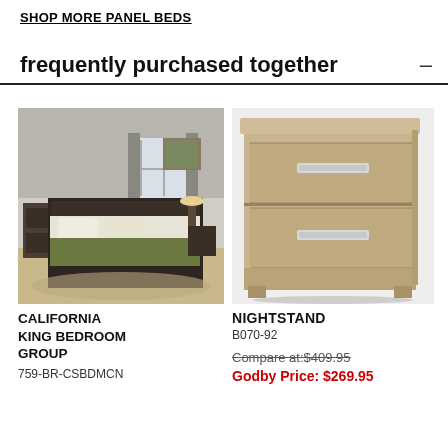SHOP MORE PANEL BEDS
frequently purchased together
[Figure (photo): California King Bedroom Group — dark wood panel bed in a staged bedroom setting with gray walls, exposed ceiling beams, and warm bedding]
CALIFORNIA KING BEDROOM GROUP
759-BR-CSBDMCN
[Figure (photo): Nightstand — two-drawer nightstand in grayish-brown wood tone with silver bar pulls]
NIGHTSTAND
B070-92
Compare at:$409.95
Godby Price: $269.95